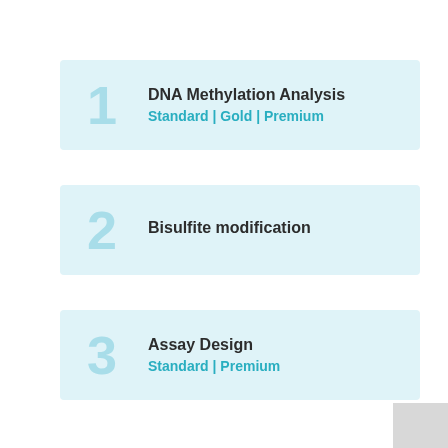1 DNA Methylation Analysis Standard | Gold | Premium
2 Bisulfite modification
3 Assay Design Standard | Premium